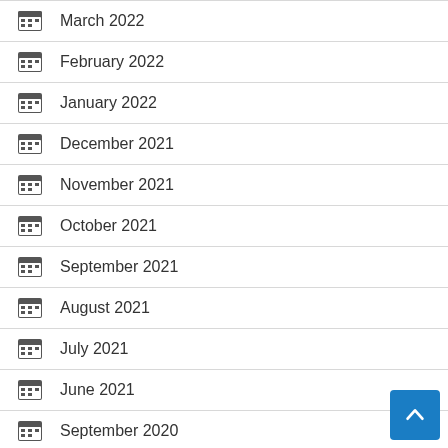March 2022
February 2022
January 2022
December 2021
November 2021
October 2021
September 2021
August 2021
July 2021
June 2021
September 2020
July 2020
August 2019
July 2019